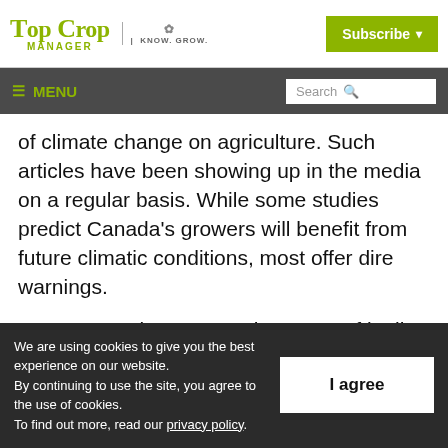TOP CROP MANAGER | KNOW. GROW. | Subscribe
≡ MENU | Search
of climate change on agriculture. Such articles have been showing up in the media on a regular basis. While some studies predict Canada's growers will benefit from future climatic conditions, most offer dire warnings.
How are producers to make sense of it all?
We are using cookies to give you the best experience on our website. By continuing to use the site, you agree to the use of cookies. To find out more, read our privacy policy. I agree